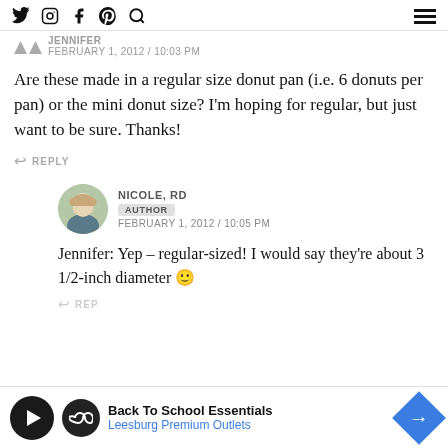Social media icons and navigation menu
JENNIFER
FEBRUARY 1, 2012 / 10:03 PM
Are these made in a regular size donut pan (i.e. 6 donuts per pan) or the mini donut size? I'm hoping for regular, but just want to be sure. Thanks!
REPLY
NICOLE, RD
AUTHOR
FEBRUARY 1, 2012 / 10:05 PM
Jennifer: Yep – regular-sized! I would say they're about 3 1/2-inch diameter 🙂
REPLY
[Figure (infographic): Back To School Essentials advertisement banner for Leesburg Premium Outlets]